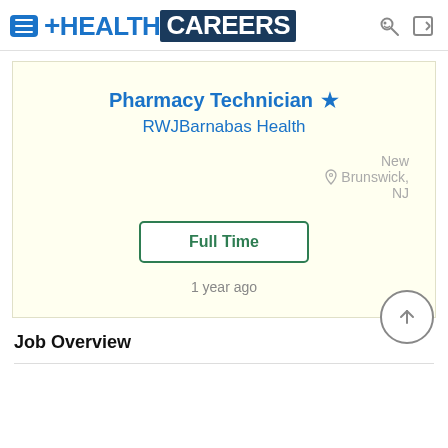HealthCareers
Pharmacy Technician
RWJBarnabas Health
New Brunswick, NJ
Full Time
1 year ago
Job Overview